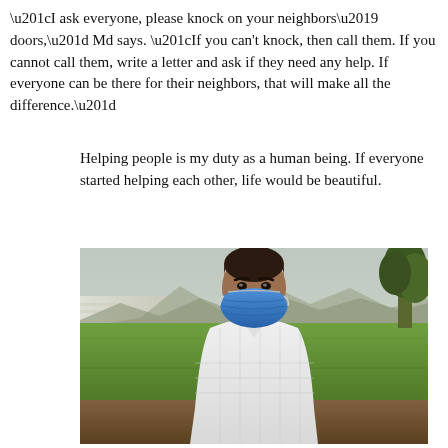“I ask everyone, please knock on your neighbors’ doors,” Md says. “If you can't knock, then call them. If you cannot call them, write a letter and ask if they need any help. If everyone can be there for their neighbors, that will make all the difference.”
Helping people is my duty as a human being. If everyone started helping each other, life would be beautiful.
[Figure (photo): A man wearing a blue face mask and white checkered shirt sitting outdoors in front of a green field and hazy sky with mountains in the background. A tree is visible on the right side.]